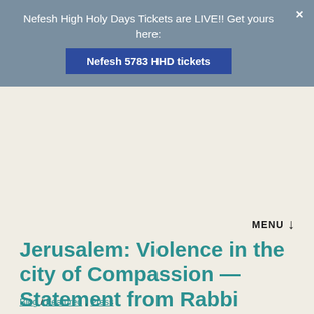Nefesh High Holy Days Tickets are LIVE!! Get yours here: Nefesh 5783 HHD tickets
Jerusalem: Violence in the city of Compassion — Statement from Rabbi Susan Goldberg
Blog / Featured, Press